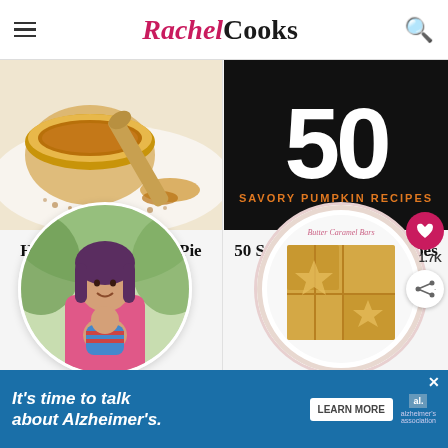Rachel Cooks
[Figure (photo): Homemade pumpkin pie spice in a bowl with a wooden spoon]
Homemade Pumpkin Pie Spice Recipe
[Figure (illustration): 50 Savory Pumpkin Recipes - black background with large 50 and orange text]
50 Savory Pumpkin Recipes
[Figure (photo): Woman holding a child, circular profile photo]
[Figure (photo): Butter caramel bars on a white plate, circular photo]
Previous Post
Next Post
[Figure (infographic): Alzheimer's Association advertisement: It's time to talk about Alzheimer's. Learn More button.]